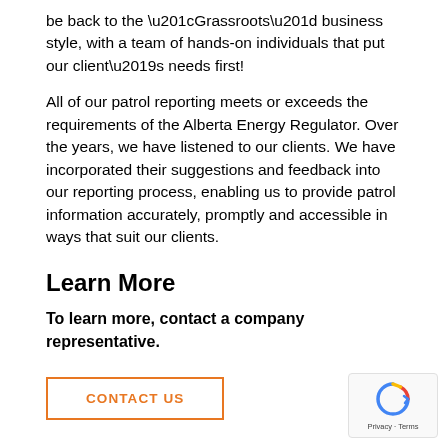be back to the “Grassroots” business style, with a team of hands-on individuals that put our client’s needs first!
All of our patrol reporting meets or exceeds the requirements of the Alberta Energy Regulator. Over the years, we have listened to our clients. We have incorporated their suggestions and feedback into our reporting process, enabling us to provide patrol information accurately, promptly and accessible in ways that suit our clients.
Learn More
To learn more, contact a company representative.
CONTACT US